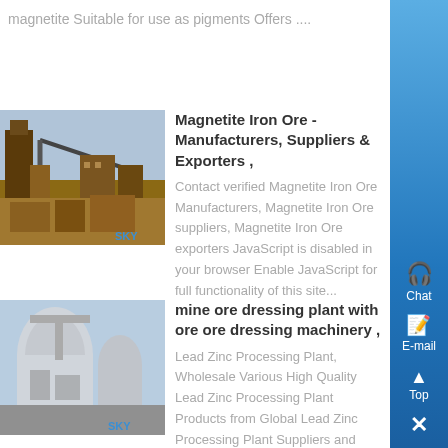magnetite Suitable for use as pigments Offers ....
[Figure (photo): Industrial mining/ore processing plant with heavy machinery and conveyor structures, SKY branded image]
Magnetite Iron Ore - Manufacturers, Suppliers & Exporters ,
Contact verified Magnetite Iron Ore Manufacturers, Magnetite Iron Ore suppliers, Magnetite Iron Ore exporters JavaScript is disabled in your browser Enable JavaScript for full functionality of this site...
[Figure (photo): Industrial ore dressing/processing plant with large cylindrical machinery, SKY branded image]
mine ore dressing plant with ore ore dressing machinery ,
Lead Zinc Processing Plant, Wholesale Various High Quality Lead Zinc Processing Plant Products from Global Lead Zinc Processing Plant Suppliers and Lead Zinc